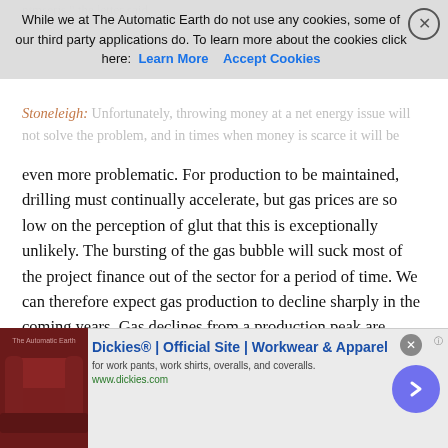ntmseris " the letter said.
Stoneleigh: Unfortunately, throwing money at a net energy issue will not solve the problem, and in times when money is scarce it will be even more problematic. For production to be maintained, drilling must continually accelerate, but gas prices are so low on the perception of glut that this is exceptionally unlikely. The bursting of the gas bubble will suck most of the project finance out of the sector for a period of time. We can therefore expect gas production to decline sharply in the coming years. Gas declines from a production peak are typically sharper than oil declines, so the change could be quite rapid.
Although demand will soften under the depression conditions for which we are headed, natural gas should receive considerable relative price support in a deflationary environment. The bust part of the cycle is happening earlier than for oil, and by the time we find ourselves in depression, a gas supply crunch could already be underway due to the effects of several years of low prices and so
While we at The Automatic Earth do not use any cookies, some of our third party applications do. To learn more about the cookies click here:   Learn More      Accept Cookies
[Figure (screenshot): Advertisement for Dickies workwear showing a brown leather couch image, title 'Dickies® | Official Site | Workwear & Apparel', subtitle 'for work pants, work shirts, overalls, and coveralls.', URL 'www.dickies.com', with a purple arrow button and close button.]